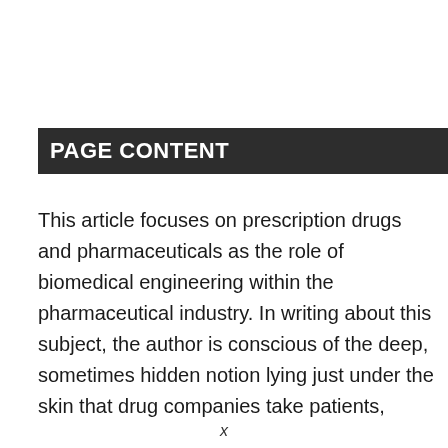PAGE CONTENT
This article focuses on prescription drugs and pharmaceuticals as the role of biomedical engineering within the pharmaceutical industry. In writing about this subject, the author is conscious of the deep, sometimes hidden notion lying just under the skin that drug companies take patients,
x